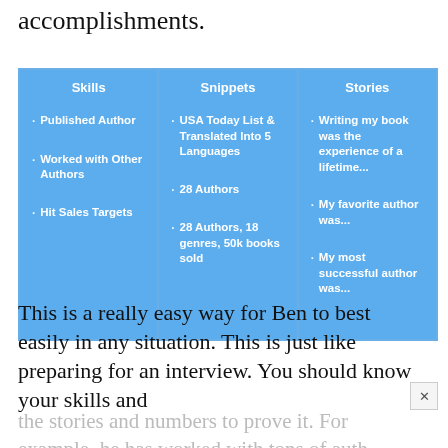accomplishments.
[Figure (infographic): Three-column blue infographic table with headers Skills, Snippets, Stories and bullet points under each column. Skills: Published Author, Worked with Other Authors, Hit Sales Targets. Snippets: USA Today List & Translated Into 5 Languages, 28 Authors, 28 Authors 18 genres 50k books sold. Stories: Writing my book was the experience of a lifetime..., My favorite author was..., My most successful author was...]
This is a really easy way for Ben to best easily in any situation. This is just like preparing for an interview. You should know your skills and
the stories and numbers to prove it. For example, he has worked with tons of auth...